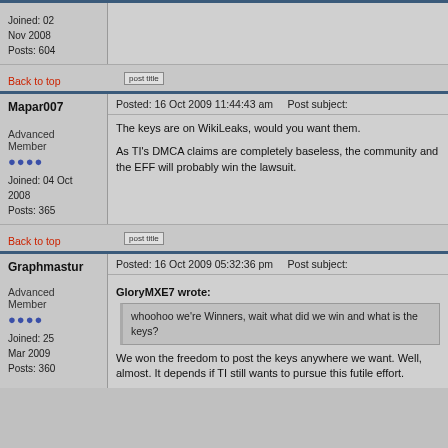Joined: 02 Nov 2008
Posts: 604
Back to top
Posted: 16 Oct 2009 11:44:43 am    Post subject:
Mapar007
Advanced Member
Joined: 04 Oct 2008
Posts: 365
The keys are on WikiLeaks, would you want them.

As TI's DMCA claims are completely baseless, the community and the EFF will probably win the lawsuit.
Back to top
Posted: 16 Oct 2009 05:32:36 pm    Post subject:
Graphmastur
Advanced Member
Joined: 25 Mar 2009
Posts: 360
GloryMXE7 wrote:
whoohoo we're Winners, wait what did we win and what is the keys?
We won the freedom to post the keys anywhere we want. Well, almost. It depends if TI still wants to pursue this futile effort.